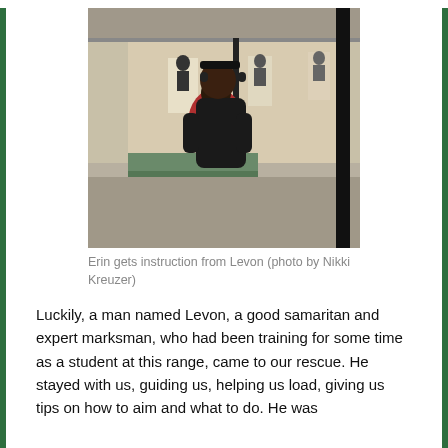[Figure (photo): Two people at an indoor shooting range. A man in black shirt with ear protection stands behind a person in a red shirt, guiding them in shooting stance. Target silhouettes visible downrange.]
Erin gets instruction from Levon (photo by Nikki Kreuzer)
Luckily, a man named Levon, a good samaritan and expert marksman, who had been training for some time as a student at this range, came to our rescue. He stayed with us, guiding us, helping us load, giving us tips on how to aim and what to do. He was